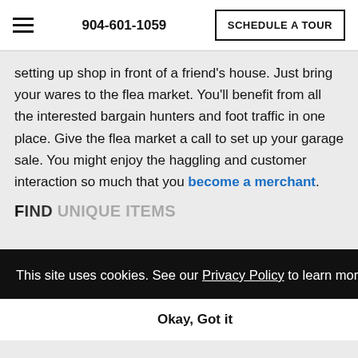904-601-1059   SCHEDULE A TOUR
setting up shop in front of a friend's house. Just bring your wares to the flea market. You'll benefit from all the interested bargain hunters and foot traffic in one place. Give the flea market a call to set up your garage sale. You might enjoy the haggling and customer interaction so much that you become a merchant.
This site uses cookies. See our Privacy Policy to learn more.
Okay, Got it
Maybe you're on the hunt for a specific china pattern. Perhaps you see a book to open the next great novel. You might just want a gift for a birthday or holiday. Whatever your reason or occasion, there's